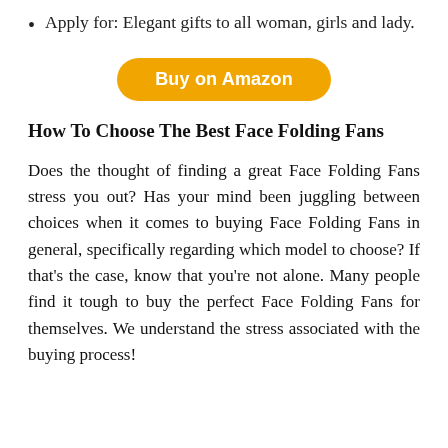Apply for: Elegant gifts to all woman, girls and lady.
[Figure (other): Orange 'Buy on Amazon' button with rounded corners]
How To Choose The Best Face Folding Fans
Does the thought of finding a great Face Folding Fans stress you out? Has your mind been juggling between choices when it comes to buying Face Folding Fans in general, specifically regarding which model to choose? If that’s the case, know that you’re not alone. Many people find it tough to buy the perfect Face Folding Fans for themselves. We understand the stress associated with the buying process!